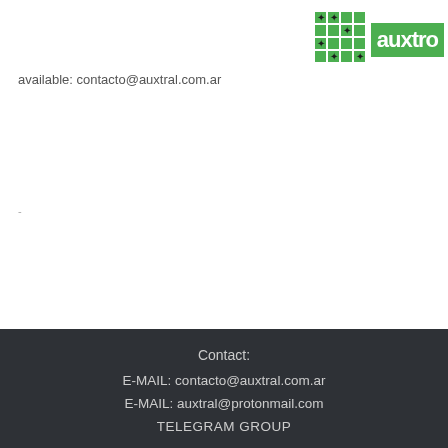[Figure (logo): Auxtral logo with green grid icon and green box with 'auxtro' text]
available: contacto@auxtral.com.ar
.
Contact:
E-MAIL: contacto@auxtral.com.ar
E-MAIL: auxtral@protonmail.com
TELEGRAM GROUP